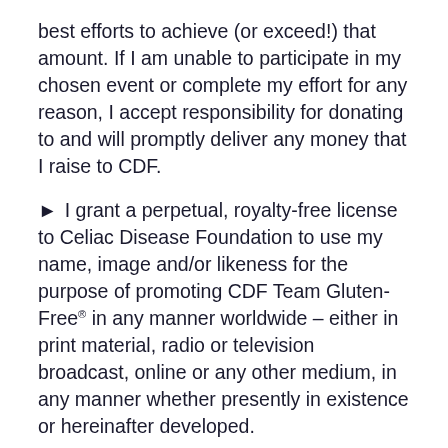best efforts to achieve (or exceed!) that amount. If I am unable to participate in my chosen event or complete my effort for any reason, I accept responsibility for donating to and will promptly deliver any money that I raise to CDF.
I grant a perpetual, royalty-free license to Celiac Disease Foundation to use my name, image and/or likeness for the purpose of promoting CDF Team Gluten-Free® in any manner worldwide – either in print material, radio or television broadcast, online or any other medium, in any manner whether presently in existence or hereinafter developed.
I acknowledge that I have voluntarily agreed to be a CDF Team Gluten-Free® participant. I hereby, for myself and my heirs, administrators, and executors covenant not to sue and release, waive and forever discharge, CDF and its affiliates, agents, directors, employees, volunteers,